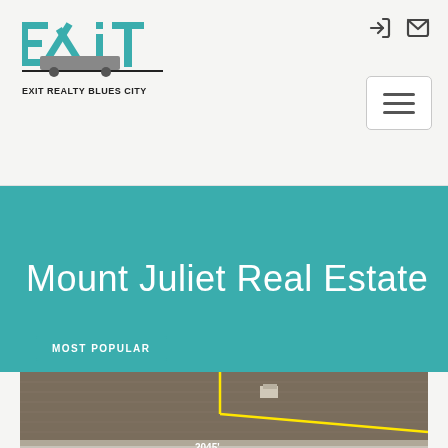[Figure (logo): EXIT Realty Blues City logo — teal and black EXIT text with house/bus icon and 'EXIT REALTY BLUES CITY' text below]
Mount Juliet Real Estate
[Figure (photo): Aerial satellite view of a land parcel with yellow boundary lines drawn on it. A 'MOST POPULAR' teal badge overlaid on the photo. Measurements '2045'' and '1578'' labeled on the parcel. A small structure visible in lower portion.]